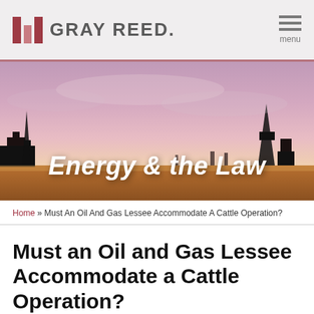GRAY REED.
[Figure (photo): Panoramic photo of oil field silhouettes against a dramatic pink and purple sunset sky, with text overlay 'Energy & the Law']
Home » Must An Oil And Gas Lessee Accommodate A Cattle Operation?
Must an Oil and Gas Lessee Accommodate a Cattle Operation?